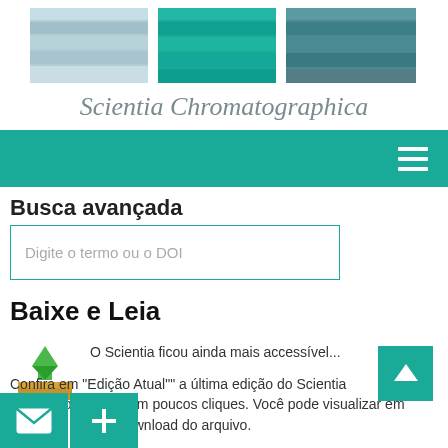[Figure (logo): Scientia Chromatographica journal header with three color-banded panels (light blue, teal/green, dark teal) and italic serif title text below]
[Figure (screenshot): Teal navigation bar with hamburger menu icon on right]
Busca avançada
[Figure (screenshot): Search input box with placeholder text 'Digite o termo ou o DOI']
Baixe e Leia
O Scientia ficou ainda mais accessível...
Confira em "Edição Atual"" a última edição do Scientia Chromatographica em poucos cliques. Você pode visualizar em seu e. ou fazer o download do arquivo.